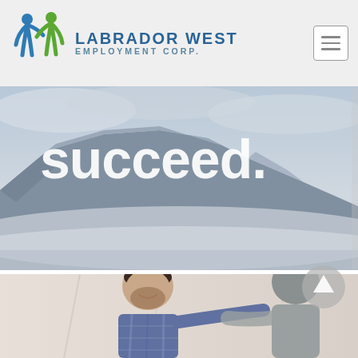[Figure (logo): Labrador West Employment Corp. logo with two stylized human figures in blue and green]
LABRADOR WEST EMPLOYMENT CORP.
[Figure (photo): Hero landscape image of a dramatic mesa/plateau mountain under cloudy sky with the word 'succeed.' overlaid in large white bold text]
[Figure (photo): Two men in a casual indoor setting, one smiling facing camera, the other facing away, appearing to be shaking hands or greeting]